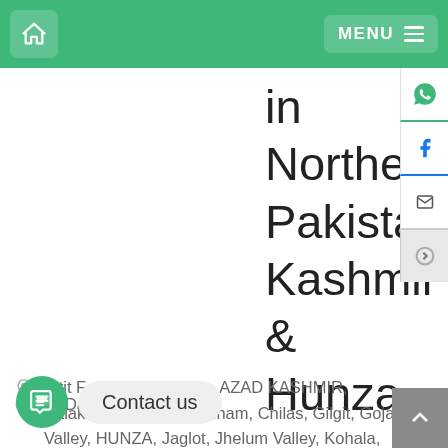MENU
in Northern Pakistan Kashmir & Hunza
Altit Fort, Attabad Lake, AZAD KASHMIR, Balakot, Baltit Fort, Besham, Chilas, Gilgit, Gojal Valley, HUNZA, Jaglot, Jhelum Valley, Kohala, Kundal Shahi, Kutton, MURREE, Muzaffarabad, NEELAM VALLEY, PAKISTAN, Pir Chinasi (Peer Chinasi), ... harda Valley
12 Days– 11 Nights
Contact us